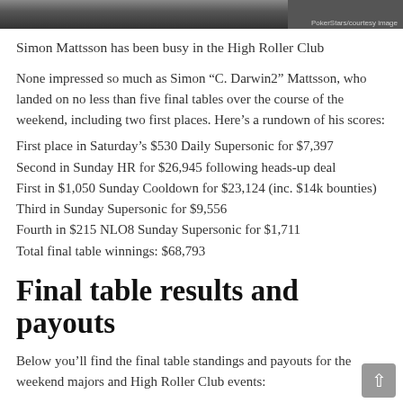[Figure (photo): Partial photo strip at top of page showing people at a poker table, with photo credit overlay]
Simon Mattsson has been busy in the High Roller Club
None impressed so much as Simon “C. Darwin2” Mattsson, who landed on no less than five final tables over the course of the weekend, including two first places. Here’s a rundown of his scores:
First place in Saturday’s $530 Daily Supersonic for $7,397
Second in Sunday HR for $26,945 following heads-up deal
First in $1,050 Sunday Cooldown for $23,124 (inc. $14k bounties)
Third in Sunday Supersonic for $9,556
Fourth in $215 NLO8 Sunday Supersonic for $1,711
Total final table winnings: $68,793
Final table results and payouts
Below you’ll find the final table standings and payouts for the weekend majors and High Roller Club events: